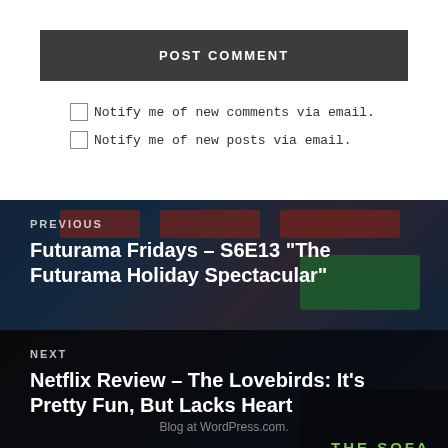POST COMMENT
Notify me of new comments via email.
Notify me of new posts via email.
[Figure (photo): Navigation block: PREVIOUS post - Futurama Fridays background image with colorful signage]
PREVIOUS
Futurama Fridays – S6E13 “The Futurama Holiday Spectacular”
[Figure (photo): Navigation block: NEXT post - The Lovebirds movie background image with two people]
NEXT
Netflix Review – The Lovebirds: It’s Pretty Fun, But Lacks Heart
Blog at WordPress.com.